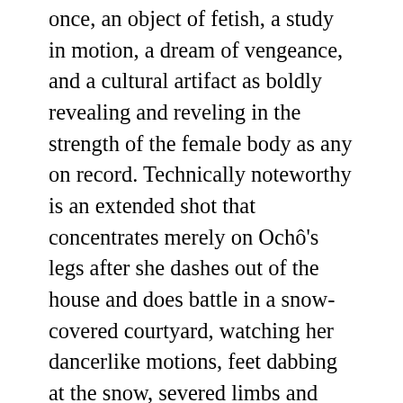once, an object of fetish, a study in motion, a dream of vengeance, and a cultural artifact as boldly revealing and reveling in the strength of the female body as any on record. Technically noteworthy is an extended shot that concentrates merely on Ochô's legs after she dashes out of the house and does battle in a snow-covered courtyard, watching her dancerlike motions, feet dabbing at the snow, severed limbs and spitting blood dropping like rain around her. Ochô survives this battle, makes contact with both her sisters in crime and with Shunosuke, and then tries to buy Yuki (Rie Saotome). But Yuki, being kept in the whorehouse of scar-faced pimp Kizugen, has caught the eye of